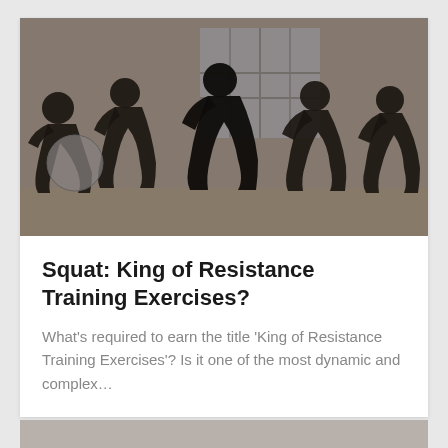[Figure (photo): Group of women doing squat exercises in a gym with brick walls and large windows, silhouetted figures in athletic wear]
Squat: King of Resistance Training Exercises?
What's required to earn the title 'King of Resistance Training Exercises'? Is it one of the most dynamic and complex…